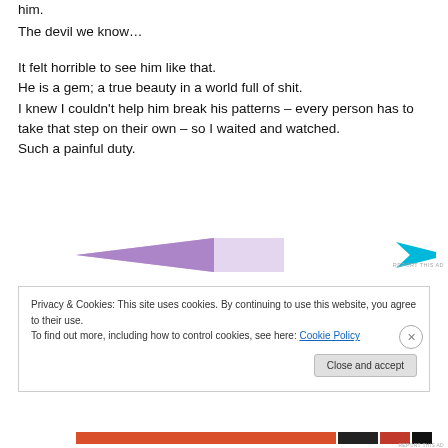him.
The devil we know…
It felt horrible to see him like that.
He is a gem; a true beauty in a world full of shit.
I knew I couldn't help him break his patterns – every person has to take that step on their own – so I waited and watched.
Such a painful duty.
[Figure (other): Advertisement banner with purple triangle on left and cyan shape on right, with 'REPORT THIS AD' text]
Privacy & Cookies: This site uses cookies. By continuing to use this website, you agree to their use.
To find out more, including how to control cookies, see here: Cookie Policy
Close and accept
[Figure (other): Second advertisement banner at bottom with red/orange bar and REPORT THIS AD text]